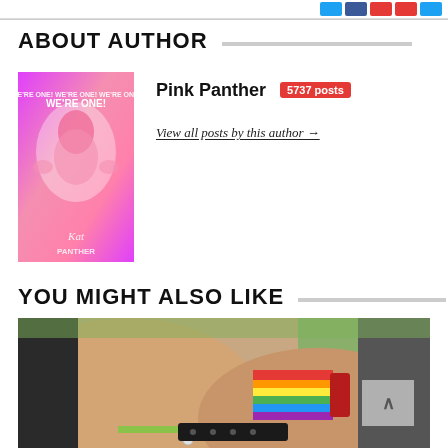ABOUT AUTHOR
[Figure (illustration): Pink Panther author avatar - pink illustrated cartoon book cover image showing Pink Panther character with text 'WE'RE ONE!']
Pink Panther  5737 posts
View all posts by this author →
YOU MIGHT ALSO LIKE
[Figure (photo): Close-up photo of two people holding hands/wrists showing rainbow pride bracelets and leather accessories with chain]